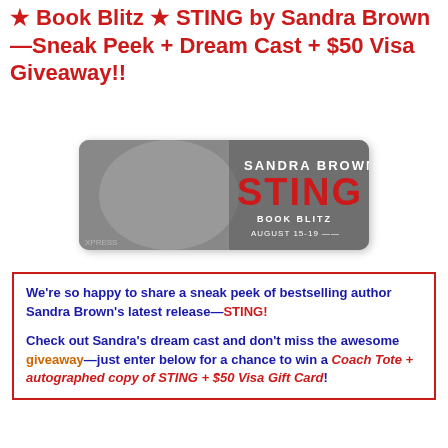★ Book Blitz ★ STING by Sandra Brown—Sneak Peek + Dream Cast + $50 Visa Giveaway!!
[Figure (illustration): Book blitz banner for STING by Sandra Brown. Grayscale background with a woman's face, text 'SANDRA BROWN STING BOOK BLITZ AUGUST 15-19' with STING in red, on a white rounded rectangle card with shadow.]
We're so happy to share a sneak peek of bestselling author Sandra Brown's latest release—STING! Check out Sandra's dream cast and don't miss the awesome giveaway—just enter below for a chance to win a Coach Tote + autographed copy of STING + $50 Visa Gift Card!